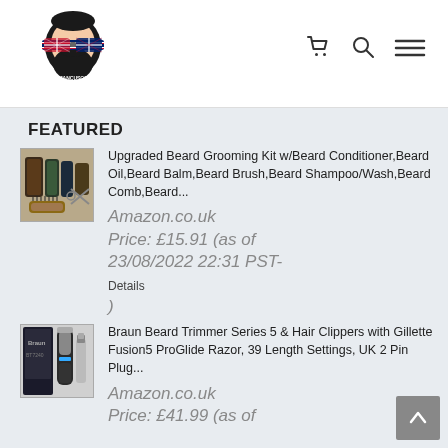[Figure (logo): Mancusos Beard logo — stylized bearded man face with Union Jack sunglasses]
FEATURED
[Figure (photo): Beard grooming kit product photo showing various bottles and a wooden brush]
Upgraded Beard Grooming Kit w/Beard Conditioner,Beard Oil,Beard Balm,Beard Brush,Beard Shampoo/Wash,Beard Comb,Beard...
Amazon.co.uk Price: £15.91 (as of 23/08/2022 22:31 PST- Details )
[Figure (photo): Braun beard trimmer series 5 product photo with trimmer and accessories]
Braun Beard Trimmer Series 5 & Hair Clippers with Gillette Fusion5 ProGlide Razor, 39 Length Settings, UK 2 Pin Plug...
Amazon.co.uk Price: £41.99 (as of